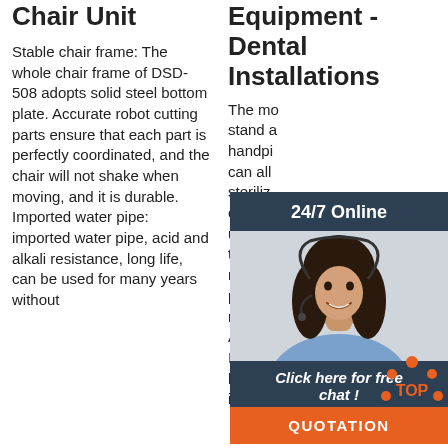Chair Unit
Stable chair frame: The whole chair frame of DSD-508 adopts solid steel bottom plate. Accurate robot cutting parts ensure that each part is perfectly coordinated, and the chair will not shake when moving, and it is durable. Imported water pipe: imported water pipe, acid and alkali resistance, long life, can be used for many years without
Equipment - Dental Installations
The mo... stand a... handpi... can all... steriliz... control... used to... the coo... motor c... presel... maximum speed. An important feature of the Implantmed is the torque limitation, which is important for implantations.
[Figure (photo): Chat widget overlay with 24/7 Online header, photo of woman with headset, 'Click here for free chat!' text, and orange QUOTATION button]
[Figure (logo): Orange TOP icon/logo in bottom right corner]